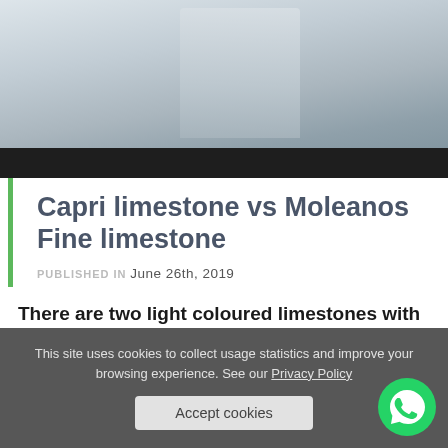[Figure (photo): Photo of a person in a light grey sweater working near wooden furniture or cabinetry, with a dark bar at the bottom of the image.]
Capri limestone vs Moleanos Fine limestone
PUBLISHED IN June 26th, 2019
There are two light coloured limestones with great demand in the market that are quite similar, the Moleanos Fine from Portugal and th...
This site uses cookies to collect usage statistics and improve your browsing experience. See our Privacy Policy
Accept cookies